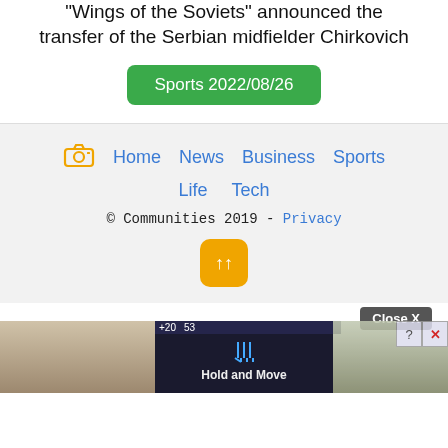"Wings of the Soviets" announced the transfer of the Serbian midfielder Chirkovich
Sports 2022/08/26
Home  News  Business  Sports  Life  Tech  © Communities 2019 - Privacy
[Figure (screenshot): Ad screenshot showing 'Hold and Move' game advertisement with Close X button]